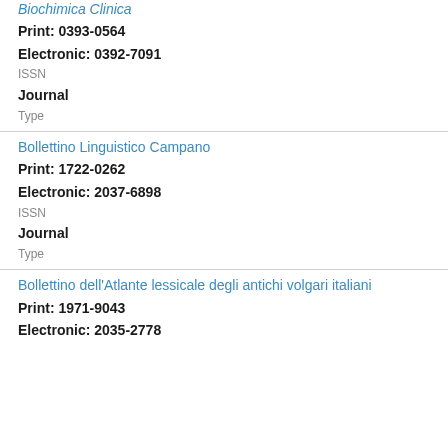Biochimica Clinica
Print: 0393-0564
Electronic: 0392-7091
ISSN
Journal
Type
Bollettino Linguistico Campano
Print: 1722-0262
Electronic: 2037-6898
ISSN
Journal
Type
Bollettino dell'Atlante lessicale degli antichi volgari italiani
Print: 1971-9043
Electronic: 2035-2778